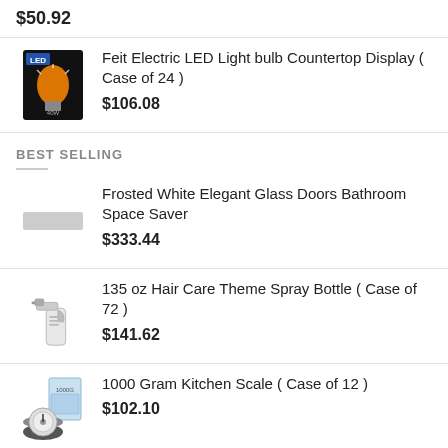$50.72
[Figure (photo): LED light bulb product photo]
Feit Electric LED Light bulb Countertop Display ( Case of 24 )
$106.08
BEST SELLING
[Figure (photo): Placeholder image for Frosted White Elegant Glass Doors Bathroom Space Saver]
Frosted White Elegant Glass Doors Bathroom Space Saver
$333.44
[Figure (photo): Spray bottle product photo]
135 oz Hair Care Theme Spray Bottle ( Case of 72 )
$141.62
[Figure (photo): Kitchen scale product photo]
1000 Gram Kitchen Scale ( Case of 12 )
$102.10
15 Peony and Sedum Artificial Arrangement Silk